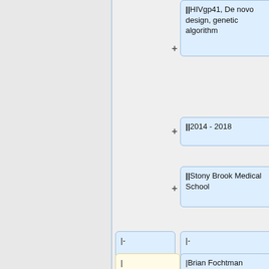||HIVgp41, De novo design, genetic algorithm
||2014 - 2018
||Stony Brook Medical School
|-
|-
| [http://www.ams.sunysb.edu/~tbalius/ Trent E. Balius]
|Brian Fochtman
|| [[Image:Trent.email.png]]
||PhD
||graduate student
||HIVgp41, DOCK development